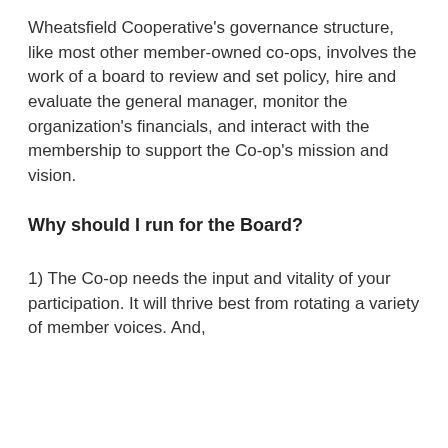Wheatsfield Cooperative's governance structure, like most other member-owned co-ops, involves the work of a board to review and set policy, hire and evaluate the general manager, monitor the organization's financials, and interact with the membership to support the Co-op's mission and vision.
Why should I run for the Board?
1) The Co-op needs the input and vitality of your participation. It will thrive best from rotating a variety of member voices. And,